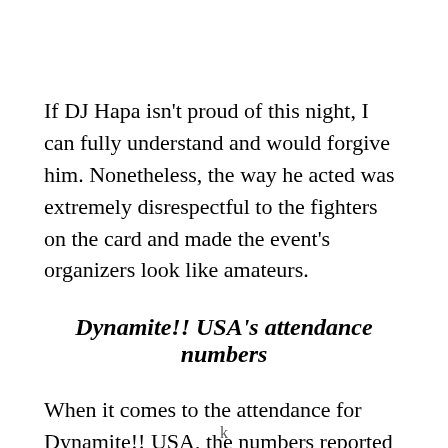If DJ Hapa isn't proud of this night, I can fully understand and would forgive him. Nonetheless, the way he acted was extremely disrespectful to the fighters on the card and made the event's organizers look like amateurs.
Dynamite!! USA's attendance numbers
When it comes to the attendance for Dynamite!! USA, the numbers reported were all over the place. From estimates of 6,000 to claims of 54,000, it was never clear how many people were actually at Dynamite!! USA